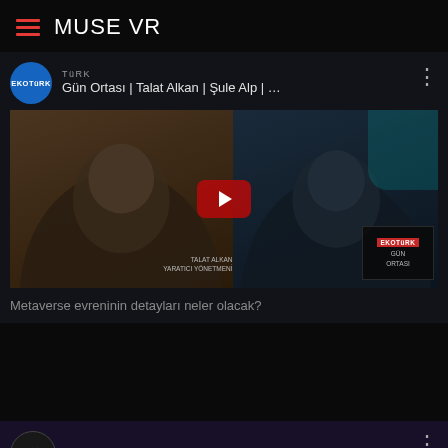MUSE VR
EKOTürk
Gün Ortası | Talat Alkan | Şule Alp | …
[Figure (screenshot): YouTube video thumbnail showing two people in a split-screen interview format with a red YouTube play button overlay. Lower right shows an EKOTürk channel box with 'GÜN ORTASI' label.]
Metaverse evreninin detayları neler olacak?
Son Sanat Bükücü: NFT
[Figure (screenshot): Video thumbnail for 'Son Sanat Bükücü: NFT' showing dark purple background with large NFT text and stylized Turkish text overlay.]